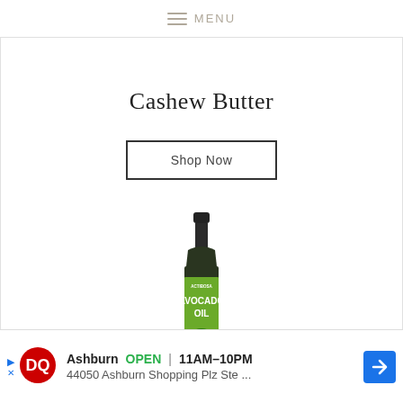MENU
Cashew Butter
Shop Now
[Figure (photo): A tall dark glass bottle of Avocado Oil with a green label, partially visible against a white background.]
Ashburn  OPEN  11AM–10PM  44050 Ashburn Shopping Plz Ste ...